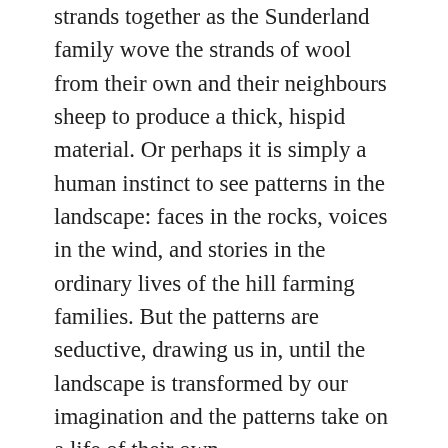strands together as the Sunderland family wove the strands of wool from their own and their neighbours sheep to produce a thick, hispid material. Or perhaps it is simply a human instinct to see patterns in the landscape: faces in the rocks, voices in the wind, and stories in the ordinary lives of the hill farming families. But the patterns are seductive, drawing us in, until the landscape is transformed by our imagination and the patterns take on a life of their own.
Beyond Delf Hill, the plateau of moorland stretched out before me to the north and west. On the high expanses of the moor, distances become elusive, and it can be difficult to determine scale. I walked for almost a kilometre across the ling heather and tussocks of cotton grass with little alteration in